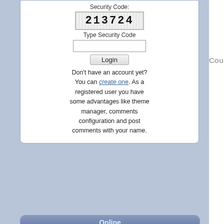Security Code:
[Figure (screenshot): CAPTCHA image showing '213724' in a grid-patterned box]
Type Security Code
Login (button)
Don't have an account yet? You can create one. As a registered user you have some advantages like theme manager, comments configuration and post comments with your name.
Online
54 guest(s) and
0 member(s)

You are Anonymous user. You can register for free by clicking here
Couldn't loa
Note: Requires Flash
Threshold 0 ▼  Thread
The comments are owne